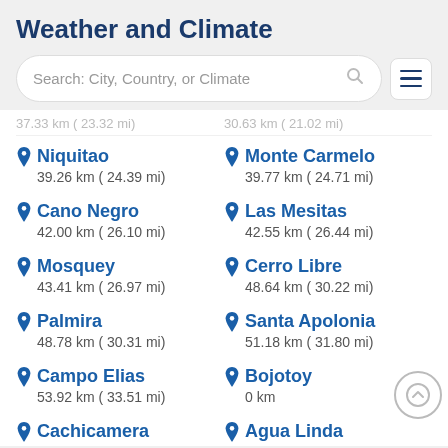Weather and Climate
Search: City, Country, or Climate
37.33 km ( 23.92 mi)	30.63 km ( 24.02 mi)
Niquitao
39.26 km ( 24.39 mi)
Monte Carmelo
39.77 km ( 24.71 mi)
Cano Negro
42.00 km ( 26.10 mi)
Las Mesitas
42.55 km ( 26.44 mi)
Mosquey
43.41 km ( 26.97 mi)
Cerro Libre
48.64 km ( 30.22 mi)
Palmira
48.78 km ( 30.31 mi)
Santa Apolonia
51.18 km ( 31.80 mi)
Campo Elias
53.92 km ( 33.51 mi)
Bojotoy
0 km
Cachicamera
Agua Linda